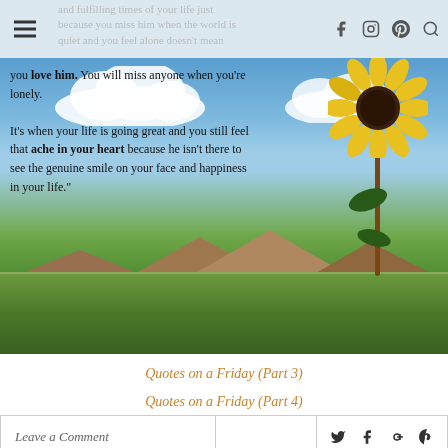and fulfilling times of your life just because you miss him when the world is quiet and you feel alone doesn't mean you love him. You will miss anyone when you're lonely.
[Figure (photo): Inspirational quote overlaid on a landscape photo featuring a sunflower against a blue sky with clouds and a green field with mountains in the background. Quote text reads: 'and fulfilling times of your life just because you miss him when the world is quiet and you feel alone doesn't mean you love him. You will miss anyone when you're lonely. It's when your life is going great and you still feel that ache in your heart because he isn't there to see the genuine smile on your face and happiness in your life.']
Quotes on a Friday (Part 3)
Quotes on a Friday (Part 4)
Leave a Comment
← PREVIOUS STORY
PROJECT 365 - PHOTO #113